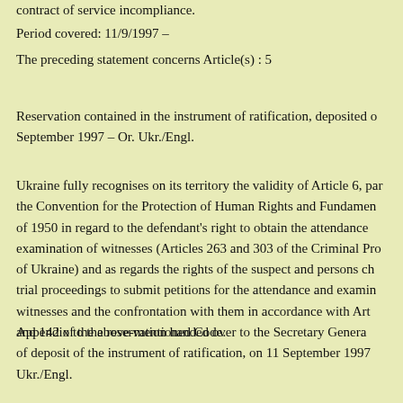contract of service incompliance.
Period covered: 11/9/1997 –
The preceding statement concerns Article(s) : 5
Reservation contained in the instrument of ratification, deposited on 11 September 1997 – Or. Ukr./Engl.
Ukraine fully recognises on its territory the validity of Article 6, par... the Convention for the Protection of Human Rights and Fundamental Freedoms of 1950 in regard to the defendant's right to obtain the attendance and examination of witnesses (Articles 263 and 303 of the Criminal Procedure Code of Ukraine) and as regards the rights of the suspect and persons charged in pre-trial proceedings to submit petitions for the attendance and examination of witnesses and the confrontation with them in accordance with Articles 43, 68 and 142 of the above-mentioned Code.
Appendix to the reservation handed over to the Secretary General at the time of deposit of the instrument of ratification, on 11 September 1997 – Or. Ukr./Engl.